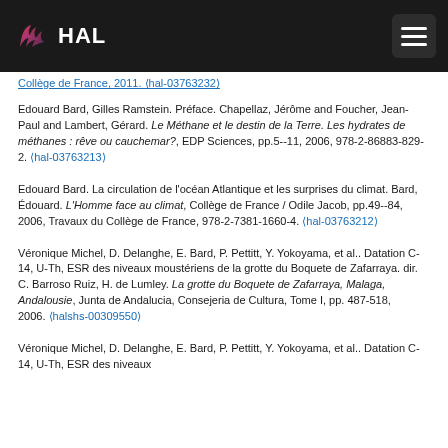HAL
Collège de France, 2011. (hal-03763232)
Edouard Bard, Gilles Ramstein. Préface. Chapellaz, Jérôme and Foucher, Jean-Paul and Lambert, Gérard. Le Méthane et le destin de la Terre. Les hydrates de méthanes : rêve ou cauchemar?, EDP Sciences, pp.5--11, 2006, 978-2-86883-829-2. (hal-03763213)
Edouard Bard. La circulation de l'océan Atlantique et les surprises du climat. Bard, Édouard. L'Homme face au climat, Collège de France / Odile Jacob, pp.49--84, 2006, Travaux du Collège de France, 978-2-7381-1660-4. (hal-03763212)
Véronique Michel, D. Delanghe, E. Bard, P. Pettitt, Y. Yokoyama, et al.. Datation C-14, U-Th, ESR des niveaux moustériens de la grotte du Boquete de Zafarraya. dir. C. Barroso Ruiz, H. de Lumley. La grotte du Boquete de Zafarraya, Malaga, Andalousie, Junta de Andalucia, Consejeria de Cultura, Tome I, pp. 487-518, 2006. (halshs-00309550)
Véronique Michel, D. Delanghe, E. Bard, P. Pettitt, Y. Yokoyama, et al.. Datation C-14, U-Th, ESR des niveaux moustériens…